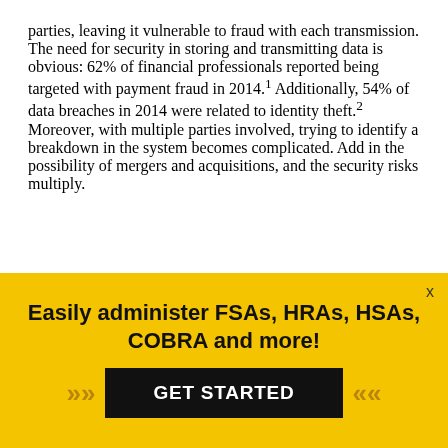parties, leaving it vulnerable to fraud with each transmission. The need for security in storing and transmitting data is obvious: 62% of financial professionals reported being targeted with payment fraud in 2014.¹ Additionally, 54% of data breaches in 2014 were related to identity theft.² Moreover, with multiple parties involved, trying to identify a breakdown in the system becomes complicated. Add in the possibility of mergers and acquisitions, and the security risks multiply.
[Figure (infographic): Yellow advertisement banner: 'Easily administer FSAs, HRAs, HSAs, COBRA and more!' with a black 'GET STARTED' button flanked by chevron arrows. A close (x) button in the top right corner.]